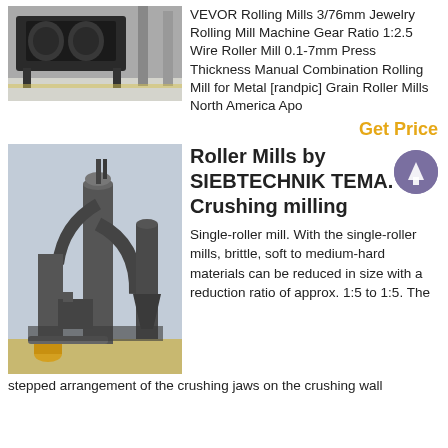[Figure (photo): Industrial rolling mill machine in a factory setting with heavy dark metal rollers and structural framework on a reflective floor.]
VEVOR Rolling Mills 3/76mm Jewelry Rolling Mill Machine Gear Ratio 1:2.5 Wire Roller Mill 0.1-7mm Press Thickness Manual Combination Rolling Mill for Metal [randpic] Grain Roller Mills North America Apo
Get Price
[Figure (photo): Large industrial roller mill facility with tall cylindrical structures, conveyor systems, pipes, and industrial equipment outdoors.]
Roller Mills by SIEBTECHNIK TEMA. Crushing milling
Single-roller mill. With the single-roller mills, brittle, soft to medium-hard materials can be reduced in size with a reduction ratio of approx. 1:5 to 1:5. The stepped arrangement of the crushing jaws on the crushing wall